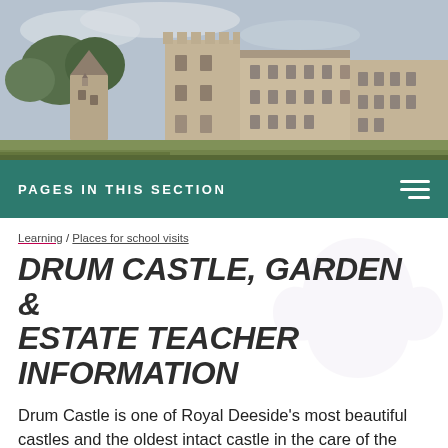[Figure (photo): Photograph of Drum Castle exterior, showing stone tower, historic buildings with multiple windows, trees in background against a cloudy sky]
PAGES IN THIS SECTION
Learning / Places for school visits
DRUM CASTLE, GARDEN & ESTATE TEACHER INFORMATION
Drum Castle is one of Royal Deeside's most beautiful castles and the oldest intact castle in the care of the National Trust for Scotland. Its architecture combines a medieval keep, Jacobean mansion house and Victorian